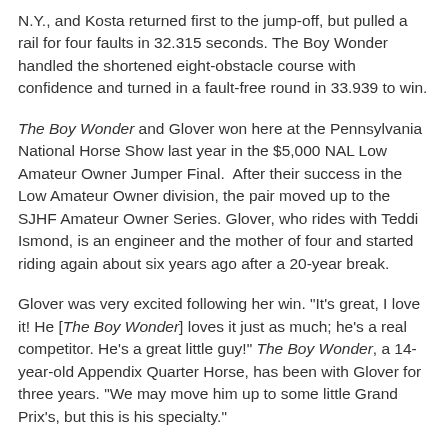N.Y., and Kosta returned first to the jump-off, but pulled a rail for four faults in 32.315 seconds. The Boy Wonder handled the shortened eight-obstacle course with confidence and turned in a fault-free round in 33.939 to win.
The Boy Wonder and Glover won here at the Pennsylvania National Horse Show last year in the $5,000 NAL Low Amateur Owner Jumper Final.  After their success in the Low Amateur Owner division, the pair moved up to the SJHF Amateur Owner Series. Glover, who rides with Teddi Ismond, is an engineer and the mother of four and started riding again about six years ago after a 20-year break.
Glover was very excited following her win. "It's great, I love it! He [The Boy Wonder] loves it just as much; he's a real competitor. He's a great little guy!" The Boy Wonder, a 14-year-old Appendix Quarter Horse, has been with Glover for three years. "We may move him up to some little Grand Prix's, but this is his specialty."
Danielle Cooper and Kosta may have finished second in the $15,000 Cavalor Show Jumping Hall of Fame Amateur